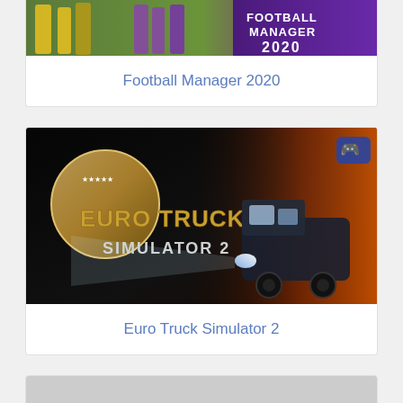[Figure (screenshot): Football Manager 2020 game banner image showing football players in yellow and purple kits with 'Football Manager 2020' logo]
Football Manager 2020
[Figure (screenshot): Euro Truck Simulator 2 game banner image showing a large truck with dramatic lighting and the game logo]
Euro Truck Simulator 2
[Figure (screenshot): Partial view of a third game card, bottom cropped]